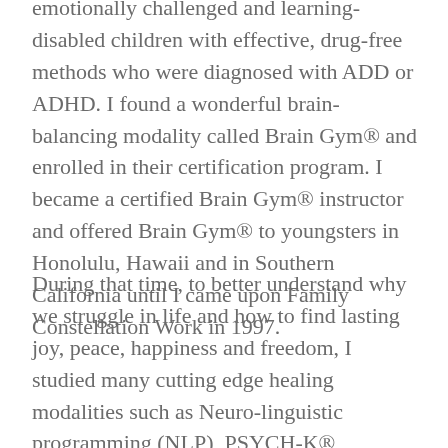emotionally challenged and learning-disabled children with effective, drug-free methods who were diagnosed with ADD or ADHD. I found a wonderful brain-balancing modality called Brain Gym® and enrolled in their certification program. I became a certified Brain Gym® instructor and offered Brain Gym® to youngsters in Honolulu, Hawaii and in Southern California until I came upon Family Constellation Work in 1997.
During that time, to better understand why we struggle in life and how to find lasting joy, peace, happiness and freedom, I studied many cutting edge healing modalities such as Neuro-linguistic programming (NLP), PSYCH-K®, Hypnosis, Birth Regression Therapy, Rebirthing, Stress and